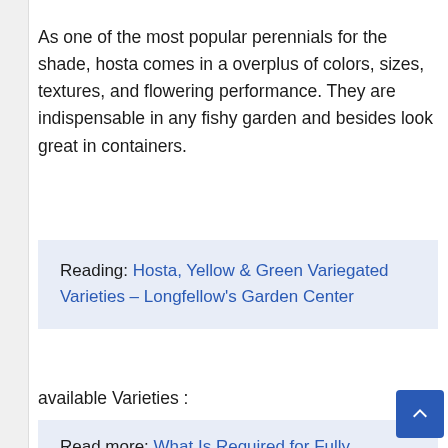As one of the most popular perennials for the shade, hosta comes in a overplus of colors, sizes, textures, and flowering performance. They are indispensable in any fishy garden and besides look great in containers.
Reading: Hosta, Yellow & Green Variegated Varieties – Longfellow's Garden Center
available Varieties :
Read more: What Is Required for Fully Redundant Hosting? – https://themedipia.com